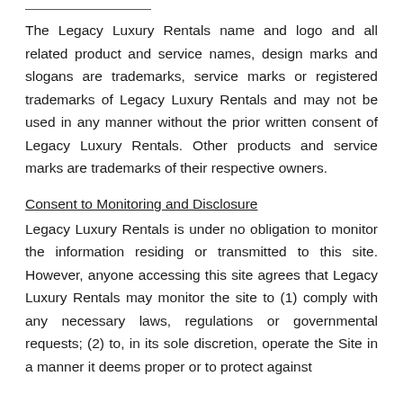The Legacy Luxury Rentals name and logo and all related product and service names, design marks and slogans are trademarks, service marks or registered trademarks of Legacy Luxury Rentals and may not be used in any manner without the prior written consent of Legacy Luxury Rentals. Other products and service marks are trademarks of their respective owners.
Consent to Monitoring and Disclosure
Legacy Luxury Rentals is under no obligation to monitor the information residing or transmitted to this site. However, anyone accessing this site agrees that Legacy Luxury Rentals may monitor the site to (1) comply with any necessary laws, regulations or governmental requests; (2) to, in its sole discretion, operate the Site in a manner it deems proper or to protect against